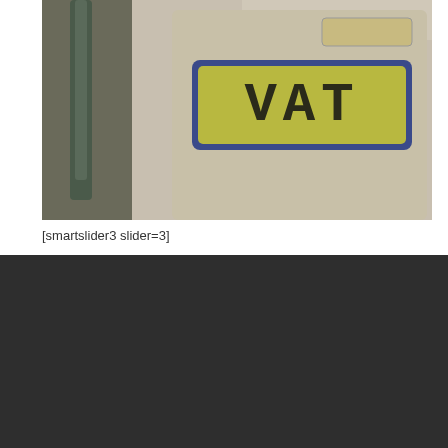[Figure (photo): Close-up photo of a calculator displaying 'VAT' on its screen, with a pen nearby and an HMRC & Customs logo visible in the background]
[smartslider3 slider=3]
[Figure (logo): Region Accountancy logo: a grey diamond shape with a smaller diamond cutout in the center, followed by the text REGION ACCOUNTANCY in bold grey capitals]
We are professional accountants that work with freelancers, contractors, new or small business to give them the accessible support, knowledge and